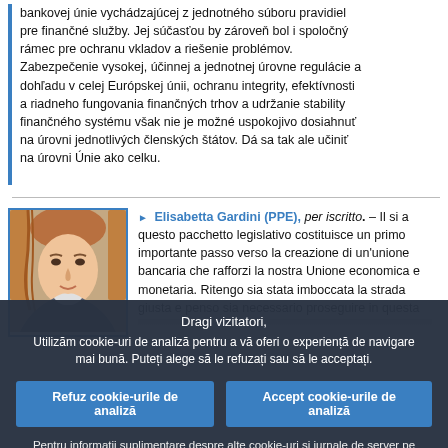bankovej únie vychádzajúcej z jednotného súboru pravidiel pre finančné služby. Jej súčasťou by zároveň bol i spoločný rámec pre ochranu vkladov a riešenie problémov. Zabezpečenie vysokej, účinnej a jednotnej úrovne regulácie a dohľadu v celej Európskej únii, ochranu integrity, efektívnosti a riadneho fungovania finančných trhov a udržanie stability finančného systému však nie je možné uspokojivo dosiahnuť na úrovni jednotlivých členských štátov. Dá sa tak ale učiniť na úrovni Únie ako celku.
Elisabetta Gardini (PPE), per iscritto. – Il si a questo pacchetto legislativo costituisce un primo importante passo verso la creazione di un'unione bancaria che rafforzi la nostra Unione economica e monetaria. Ritengo sia stata imboccata la strada giusta e penso sia necessario proseguire in questa...
Dragi vizitatori,
Utilizăm cookie-uri de analiză pentru a vă oferi o experiență de navigare mai bună. Puteți alege să le refuzați sau să le acceptați.
Refuz cookie-urile de analiză   Accept cookie-urile de analiză
Pentru informații suplimentare despre alte cookie-uri și jurnale de server pe care le folosim, vă invităm să citiți politica de protecție a datelor , politica privind cookie-urile și inventarul cookie-urilor.